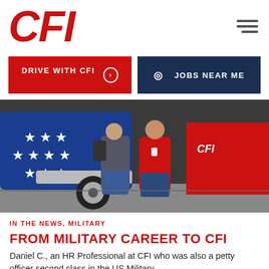[Figure (logo): CFI logo in bold red italic letters]
[Figure (other): Hamburger menu icon (three horizontal lines)]
[Figure (other): Two buttons: DRIVE WITH CFI (red) and JOBS NEAR ME (navy)]
[Figure (photo): Two people standing in front of a blue semi-truck decorated with white stars (American flag pattern) and a red CFI trailer inside a warehouse/event hall]
IN THE NEWS, MILITARY
FROM MILITARY CAREER TO CFI
Daniel C., an HR Professional at CFI who was also a petty officer second class in the US Military...